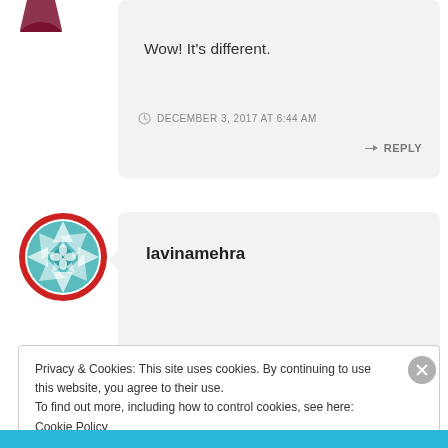[Figure (illustration): Partial avatar/icon in top left corner, dark red, partially cropped]
Wow! It's different.
DECEMBER 3, 2017 AT 6:44 AM
↳ REPLY
[Figure (illustration): Circular avatar with red border and teal geometric/mandala pattern, for user lavinamehra]
lavinamehra
Privacy & Cookies: This site uses cookies. By continuing to use this website, you agree to their use.
To find out more, including how to control cookies, see here: Cookie Policy
Close and accept